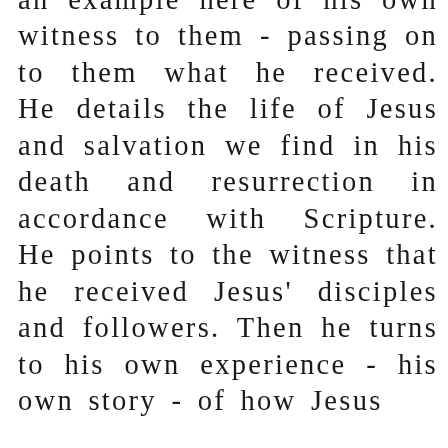an example here of his own witness to them - passing on to them what he received. He details the life of Jesus and salvation we find in his death and resurrection in accordance with Scripture. He points to the witness that he received Jesus' disciples and followers. Then he turns to his own experience - his own story - of how Jesus